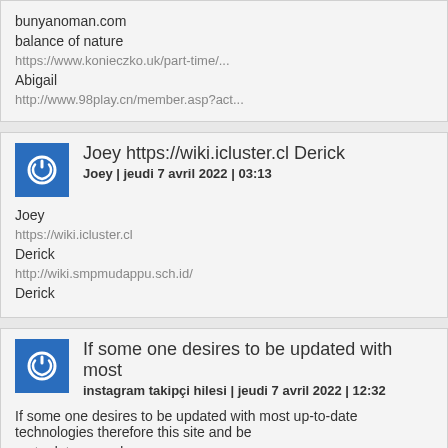bunyanoman.com
balance of nature
https://www.konieczko.uk/part-time/...
Abigail
http://www.98play.cn/member.asp?act...
Joey https://wiki.icluster.cl Derick
Joey | jeudi 7 avril 2022 | 03:13
Joey
https://wiki.icluster.cl
Derick
http://wiki.smpmudappu.sch.id/
Derick
If some one desires to be updated with most
instagram takipçi hilesi | jeudi 7 avril 2022 | 12:32
If some one desires to be updated with most up-to-date technologies therefore this site and be up to date everyday.